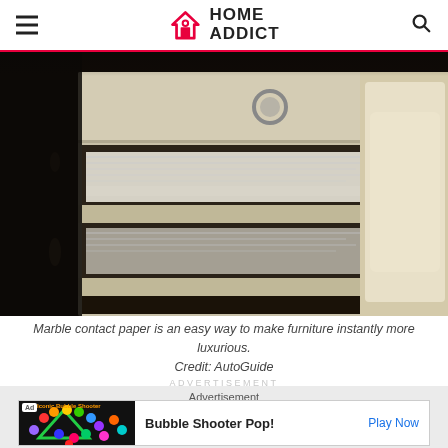HOME ADDICT
[Figure (photo): A bedside nightstand/filing cabinet with open drawers revealing papers inside, next to a bed with white bedding, dimly lit room]
Marble contact paper is an easy way to make furniture instantly more luxurious. Credit: AutoGuide
ADVERTISEMENT
Advertisement
[Figure (other): Ad banner: Bubble Shooter Pop! game advertisement with colorful bubbles graphic, Play Now CTA]